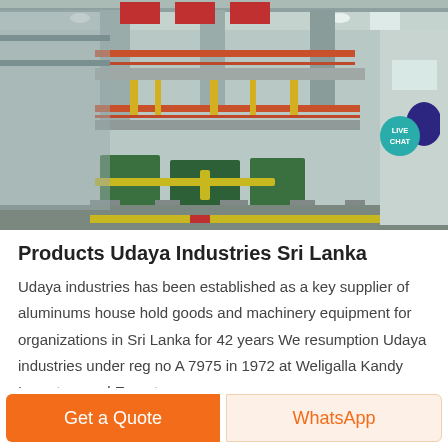[Figure (photo): Industrial factory interior showing multi-level steel structure with orange/red railings, yellow pipes, green machinery, and large manufacturing equipment floor.]
Products Udaya Industries Sri Lanka
Udaya industries has been established as a key supplier of aluminums house hold goods and machinery equipment for organizations in Sri Lanka for 42 years We resumption Udaya industries under reg no A 7975 in 1972 at Weligalla Kandy Importers and Exporters